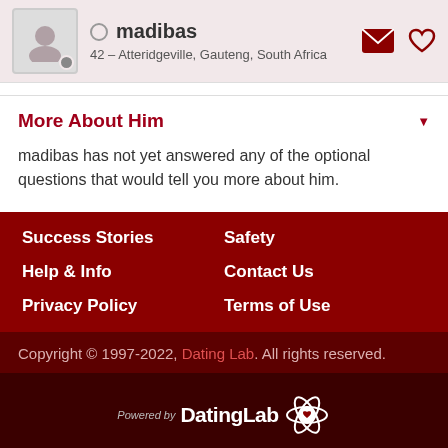madibas – 42 – Atteridgeville, Gauteng, South Africa
More About Him
madibas has not yet answered any of the optional questions that would tell you more about him.
Success Stories
Safety
Help & Info
Contact Us
Privacy Policy
Terms of Use
Copyright © 1997-2022, Dating Lab. All rights reserved.
[Figure (logo): DatingLab logo with atomic orbital heart icon]